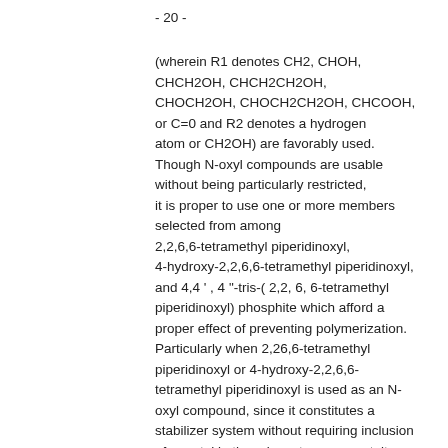- 20 -
(wherein R1 denotes CH2, CHOH, CHCH2OH, CHCH2CH2OH, CHOCH2OH, CHOCH2CH2OH, CHCOOH, or C=0 and R2 denotes a hydrogen atom or CH2OH) are favorably used. Though N-oxyl compounds are usable without being particularly restricted, it is proper to use one or more members selected from among 2,2,6,6-tetramethyl piperidinoxyl, 4-hydroxy-2,2,6,6-tetramethyl piperidinoxyl, and 4,4 ' , 4 "-tris-( 2,2, 6, 6-tetramethyl piperidinoxyl) phosphite which afford a proper effect of preventing polymerization. Particularly when 2,26,6-tetramethyl piperidinoxyl or 4-hydroxy-2,2,6,6-tetramethyl piperidinoxyl is used as an N-oxyl compound, since it constitutes a stabilizer system without requiring inclusion of a metal in the relevant component, it dismisses the possibility of the metallic parts of the equipment being corroded by the stabilizer and facilitates the disposal of waste liquid as well.